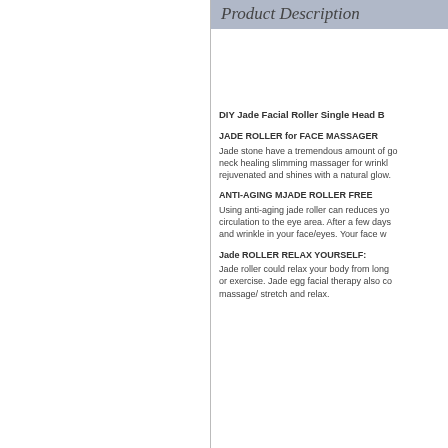Product Description
DIY Jade Facial Roller Single Head B
JADE ROLLER for FACE MASSAGER
Jade stone have a tremendous amount of go... neck healing slimming massager for wrinkl... rejuvenated and shines with a natural glow.
ANTI-AGING MJADE ROLLER FREE
Using anti-aging jade roller can reduces yo... circulation to the eye area. After a few days... and wrinkle in your face/eyes. Your face w...
Jade ROLLER RELAX YOURSELF:
Jade roller could relax your body from long... or exercise. Jade egg facial therapy also co... massage/ stretch and relax.